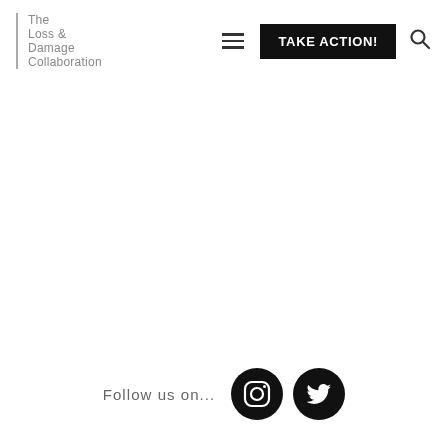The Loss & Damage Collaboration
Follow us on...